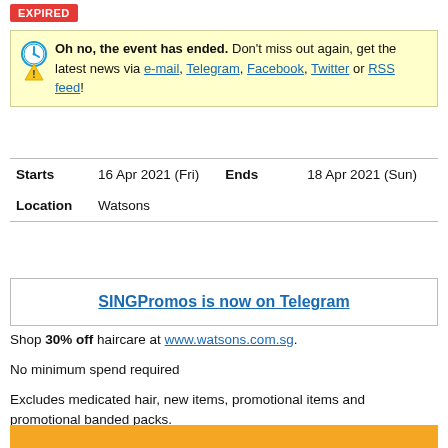EXPIRED
Oh no, the event has ended. Don't miss out again, get the latest news via e-mail, Telegram, Facebook, Twitter or RSS feed!
|  |  |
| --- | --- |
| Starts | 16 Apr 2021 (Fri) | Ends | 18 Apr 2021 (Sun) |
| Location | Watsons |  |  |
SINGPromos is now on Telegram
Shop 30% off haircare at www.watsons.com.sg.
No minimum spend required
Excludes medicated hair, new items, promotional items and promotional banded packs.
[Figure (photo): Watsons promotional banner with yellow background and colorful graphic elements]